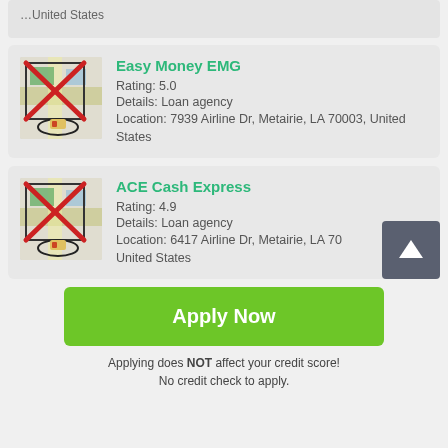…United States
Easy Money EMG
Rating: 5.0
Details: Loan agency
Location: 7939 Airline Dr, Metairie, LA 70003, United States
ACE Cash Express
Rating: 4.9
Details: Loan agency
Location: 6417 Airline Dr, Metairie, LA 70…
United States
Apply Now
Applying does NOT affect your credit score!
No credit check to apply.